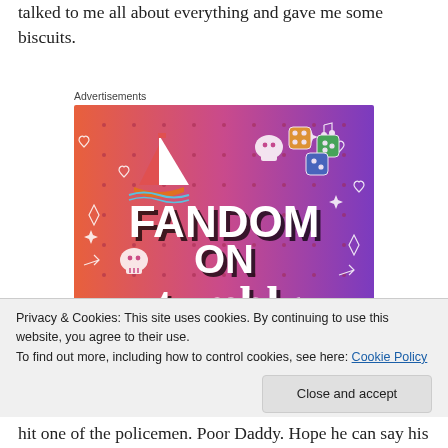talked to me all about everything and gave me some biscuits.
Advertisements
[Figure (illustration): Fandom on Tumblr advertisement banner with colorful gradient background (orange to purple) featuring hand-drawn doodles, a sailboat sticker, skull icons, dice icons, and bold text reading FANDOM ON tumblr]
Privacy & Cookies: This site uses cookies. By continuing to use this website, you agree to their use.
To find out more, including how to control cookies, see here: Cookie Policy
hit one of the policemen. Poor Daddy. Hope he can say his